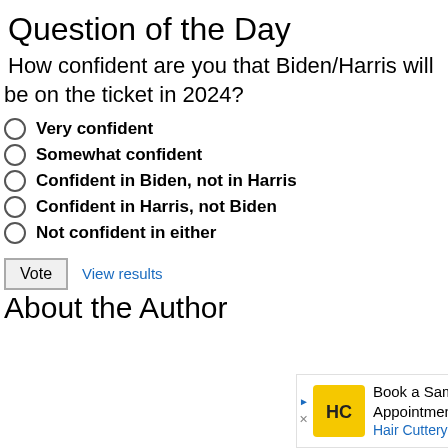Question of the Day
How confident are you that Biden/Harris will be on the ticket in 2024?
Very confident
Somewhat confident
Confident in Biden, not in Harris
Confident in Harris, not Biden
Not confident in either
Vote   View results
About the Author
[Figure (infographic): Advertisement banner for Hair Cuttery: 'Book a Same Day Appointment' with yellow HC logo and blue navigation arrow icon]